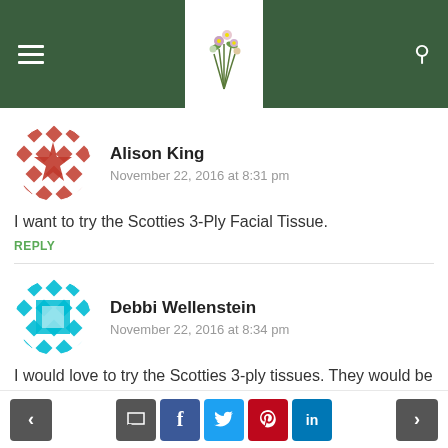Site header with navigation and logo
Alison King
November 22, 2016 at 8:31 pm
I want to try the Scotties 3-Ply Facial Tissue.
REPLY
Debbi Wellenstein
November 22, 2016 at 8:34 pm
I would love to try the Scotties 3-ply tissues. They would be great for a poor sore nose that has a cold.
< [comment] [f] [twitter] [pinterest] [in] >